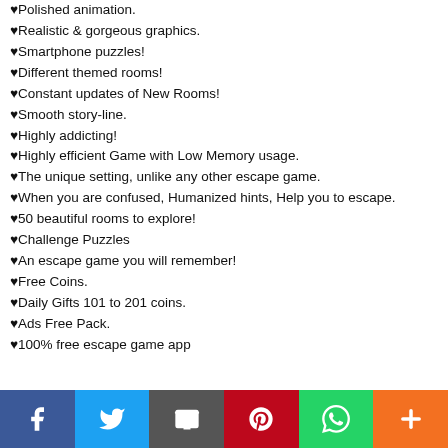♥Polished animation.
♥Realistic & gorgeous graphics.
♥Smartphone puzzles!
♥Different themed rooms!
♥Constant updates of New Rooms!
♥Smooth story-line.
♥Highly addicting!
♥Highly efficient Game with Low Memory usage.
♥The unique setting, unlike any other escape game.
♥When you are confused, Humanized hints, Help you to escape.
♥50 beautiful rooms to explore!
♥Challenge Puzzles
♥An escape game you will remember!
♥Free Coins.
♥Daily Gifts 101 to 201 coins.
♥Ads Free Pack.
♥100% free escape game app